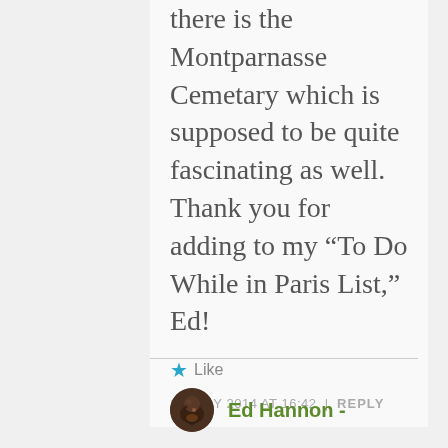there is the Montparnasse Cemetary which is supposed to be quite fascinating as well. Thank you for adding to my “To Do While in Paris List,” Ed!
★ Like
12 JULY 2014 AT 16:42 | REPLY
Ed Hannon -